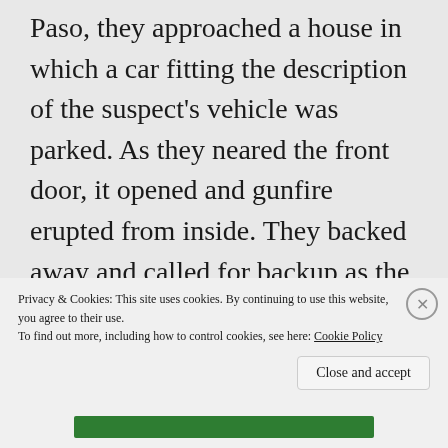Paso, they approached a house in which a car fitting the description of the suspect's vehicle was parked. As they neared the front door, it opened and gunfire erupted from inside. They backed away and called for backup as the suspects fled in their car. Shortly afterward, they stole another car from a
Privacy & Cookies: This site uses cookies. By continuing to use this website, you agree to their use.
To find out more, including how to control cookies, see here: Cookie Policy
Close and accept